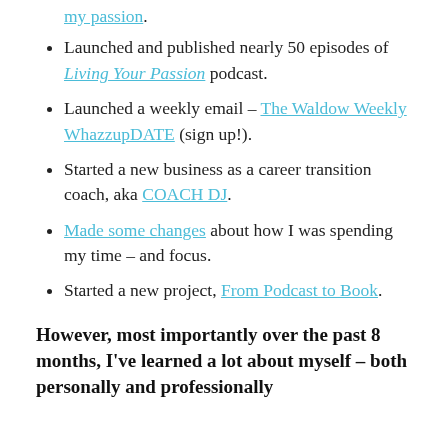my passion.
Launched and published nearly 50 episodes of Living Your Passion podcast.
Launched a weekly email – The Waldow Weekly WhazzupDATE (sign up!).
Started a new business as a career transition coach, aka COACH DJ.
Made some changes about how I was spending my time – and focus.
Started a new project, From Podcast to Book.
However, most importantly over the past 8 months, I've learned a lot about myself – both personally and professionally